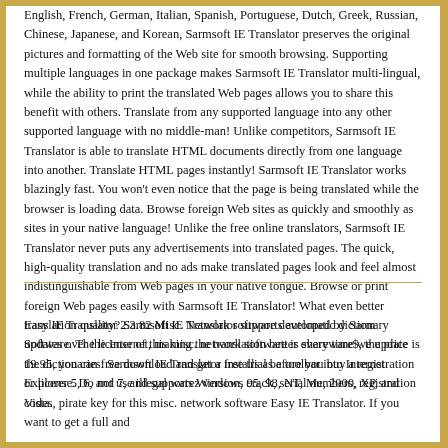English, French, German, Italian, Spanish, Portuguese, Dutch, Greek, Russian, Chinese, Japanese, and Korean, Sarmsoft IE Translator preserves the original pictures and formatting of the Web site for smooth browsing. Supporting multiple languages in one package makes Sarmsoft IE Translator multi-lingual, while the ability to print the translated Web pages allows you to share this benefit with others. Translate from any supported language into any other supported language with no middle-man! Unlike competitors, Sarmsoft IE Translator is able to translate HTML documents directly from one language into another. Translate HTML pages instantly! Sarmsoft IE Translator works blazingly fast. You won't even notice that the page is being translated while the browser is loading data. Browse foreign Web sites as quickly and smoothly as sites in your native language! Unlike the free online translators, Sarmsoft IE Translator never puts any advertisements into translated pages. The quick, high-quality translation and no ads make translated pages look and feel almost indistinguishable from Web pages in your native tongue. Browse or print foreign Web pages easily with Sarmsoft IE Translator! What even better translation quality? Sarmsoft IE Translator supports automatic dictionary updates over the Internet, making the translation better every time we update the dictionaries. Sarmsoft IE Translator installs as a toolbar into Internet Explorer 5, 6, and 7, and supports Windows 95, 98, NT, Me, 2000, XP, and Vista.
Easy IE Translator 2.3.82 Misc. Network software developed by Sarm Software. The license of this misc. network software is shareware$, the price is 19.95, you can free download and get a free trial before you buy a registration or license. Do not use illegal warez version, crack, serial numbers, registration codes, pirate key for this misc. network software Easy IE Translator. If you want to get a full and